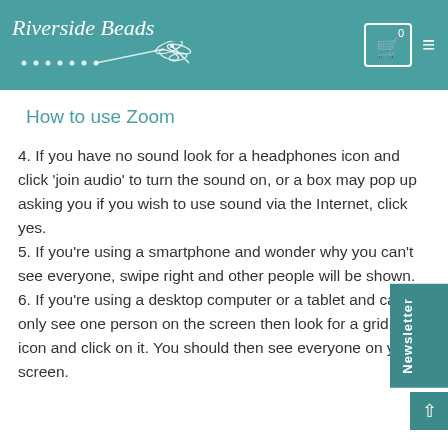Riverside Beads
How to use Zoom
4. If you have no sound look for a headphones icon and click 'join audio' to turn the sound on, or a box may pop up asking you if you wish to use sound via the Internet, click yes.
5. If you're using a smartphone and wonder why you can't see everyone, swipe right and other people will be shown.
6. If you're using a desktop computer or a tablet and can only see one person on the screen then look for a grid like icon and click on it. You should then see everyone on your screen.